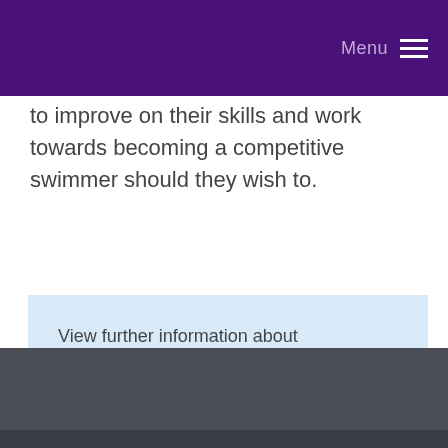Menu
to improve on their skills and work towards becoming a competitive swimmer should they wish to.
View further information about Performance Swimming in Wales.